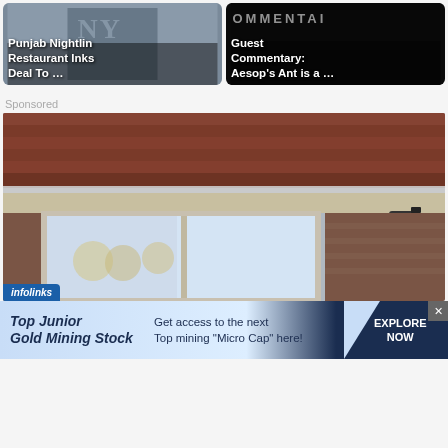[Figure (screenshot): Card thumbnail: Punjab Night Restaurant Inks Deal To ...]
[Figure (screenshot): Card thumbnail: Guest Commentary: Aesop's Ant is a ...]
Sponsored
[Figure (photo): Photo of a person holding a drill or power tool up to a window on the exterior of a house with brick and shingle roof]
[Figure (infographic): Infolinks advertisement bar: Top Junior Gold Mining Stock - Get access to the next Top mining "Micro Cap" here! - EXPLORE NOW]